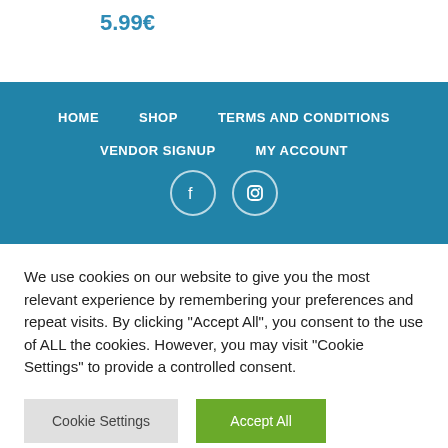5.99€
HOME   SHOP   TERMS AND CONDITIONS   VENDOR SIGNUP   MY ACCOUNT
[Figure (other): Social media icons: Facebook and Instagram circles]
We use cookies on our website to give you the most relevant experience by remembering your preferences and repeat visits. By clicking "Accept All", you consent to the use of ALL the cookies. However, you may visit "Cookie Settings" to provide a controlled consent.
Cookie Settings   Accept All